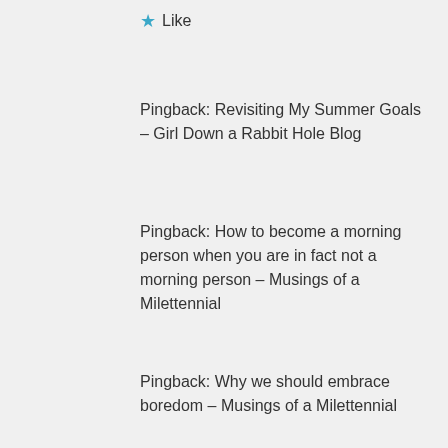★ Like
Pingback: Revisiting My Summer Goals – Girl Down a Rabbit Hole Blog
Pingback: How to become a morning person when you are in fact not a morning person – Musings of a Milettennial
Pingback: Why we should embrace boredom – Musings of a Milettennial